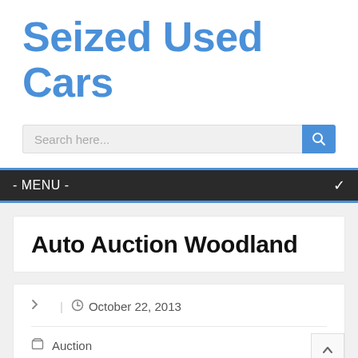Seized Used Cars
[Figure (screenshot): Search input field with placeholder text 'Search here...' and a blue search button with magnifier icon]
- MENU -
Auto Auction Woodland
October 22, 2013
Auction